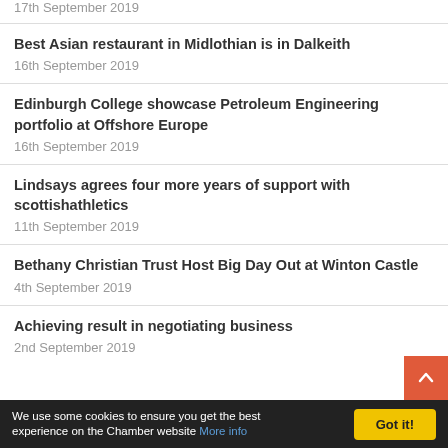17th September 2019
Best Asian restaurant in Midlothian is in Dalkeith
16th September 2019
Edinburgh College showcase Petroleum Engineering portfolio at Offshore Europe
16th September 2019
Lindsays agrees four more years of support with scottishathletics
11th September 2019
Bethany Christian Trust Host Big Day Out at Winton Castle
4th September 2019
Achieving result in negotiating business
2nd September 2019
We use some cookies to ensure you get the best experience on the Chamber website More info  Got it!